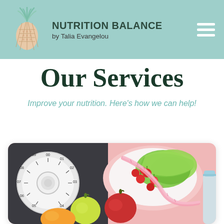NUTRITION BALANCE by Talia Evangelou
Our Services
Improve your nutrition. Here's how we can help!
[Figure (photo): Top-down view of health and nutrition items: a kitchen scale with dial, a plate with cherry tomatoes and green lettuce with a pink measuring tape, a green apple, a red apple, and an orange on a pink background]